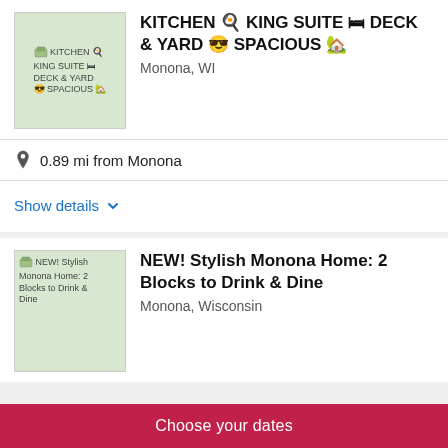[Figure (photo): Thumbnail image placeholder for kitchen/king suite listing]
KITCHEN 🍳 KING SUITE 🛏 DECK & YARD 😎 SPACIOUS 🏡
Monona, WI
0.89 mi from Monona
Show details
[Figure (photo): Thumbnail image placeholder for stylish Monona home listing]
NEW! Stylish Monona Home: 2 Blocks to Drink & Dine
Monona, Wisconsin
Choose your dates